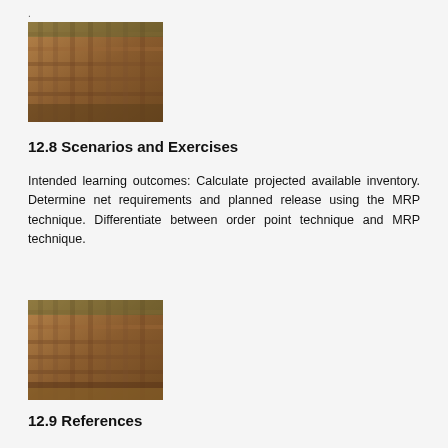[Figure (photo): Close-up photo of industrial metal casting or engine components made of brown/orange clay or metal material, showing rows of mechanical parts]
12.8 Scenarios and Exercises
Intended learning outcomes: Calculate projected available inventory. Determine net requirements and planned release using the MRP technique. Differentiate between order point technique and MRP technique.
[Figure (photo): Close-up photo of industrial metal casting or engine components made of brown/orange clay or metal material, showing rows of mechanical parts]
12.9 References